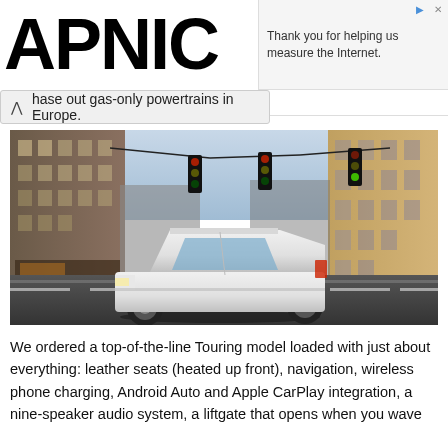APNIC
Thank you for helping us measure the Internet.
hase out gas-only powertrains in Europe.
[Figure (photo): White Honda CR-V SUV driving through an urban intersection with traffic lights overhead, brick buildings on both sides, at dusk or early evening.]
We ordered a top-of-the-line Touring model loaded with just about everything: leather seats (heated up front), navigation, wireless phone charging, Android Auto and Apple CarPlay integration, a nine-speaker audio system, a liftgate that opens when you wave